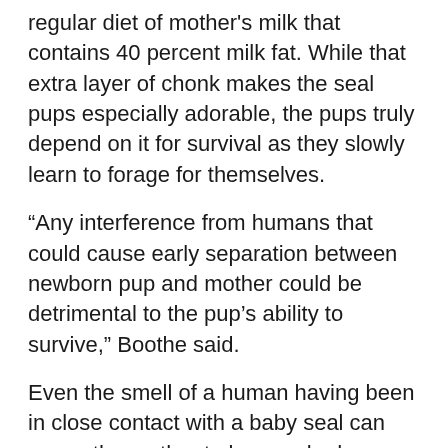regular diet of mother's milk that contains 40 percent milk fat. While that extra layer of chonk makes the seal pups especially adorable, the pups truly depend on it for survival as they slowly learn to forage for themselves.
“Any interference from humans that could cause early separation between newborn pup and mother could be detrimental to the pup’s ability to survive,” Boothe said.
Even the smell of a human having been in close contact with a baby seal can cause the mother to be spooked. Boothe told Oregon Coast Beach Connection the mama seals go by their olfactory system.
If you spot a seal pup (or any other stranded animal on the beach) it’s critical you give it plenty of space and call the local marine mammal stranding network so they can come by and cordon off the area.
What numbers do you call if you find a stranded seal pup? Oregon State Police non-emergency numbers are good but make sure you do not use 911. On the north Oregon coast and southern Washington coast